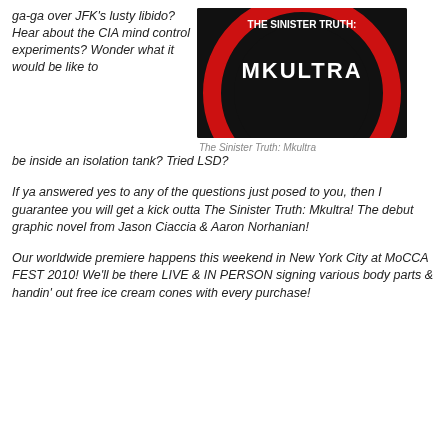ga-ga over JFK's lusty libido?  Hear about the CIA mind control experiments?  Wonder what it would be like to be inside an isolation tank?  Tried LSD?
[Figure (photo): Book cover of 'The Sinister Truth: Mkultra' — dark black background with red circular ring design and white text.]
The Sinister Truth: Mkultra
If ya answered yes to any of the questions just posed to you, then I guarantee you will get a kick outta The Sinister Truth: Mkultra! The debut graphic novel from Jason Ciaccia & Aaron Norhanian!
Our worldwide premiere happens this weekend in New York City at MoCCA FEST 2010!  We'll be there LIVE & IN PERSON signing various body parts & handin' out free ice cream cones with every purchase!